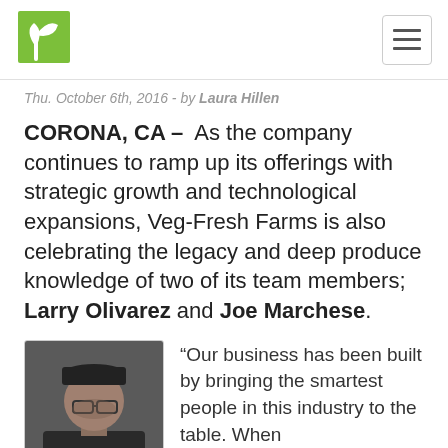[Veg-Fresh Farms logo] [hamburger menu icon]
Thu. October 6th, 2016 - by Laura Hillen
CORONA, CA – As the company continues to ramp up its offerings with strategic growth and technological expansions, Veg-Fresh Farms is also celebrating the legacy and deep produce knowledge of two of its team members; Larry Olivarez and Joe Marchese.
[Figure (photo): Portrait photo of an older man wearing glasses and a black cap, dressed in a dark jacket, against a grey background.]
“Our business has been built by bringing the smartest people in this industry to the table. When